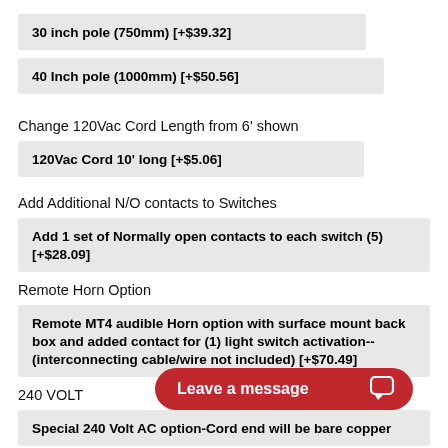30 inch pole (750mm) [+$39.32]
40 Inch pole (1000mm) [+$50.56]
Change 120Vac Cord Length from 6' shown
120Vac Cord 10' long [+$5.06]
Add Additional N/O contacts to Switches
Add 1 set of Normally open contacts to each switch (5) [+$28.09]
Remote Horn Option
Remote MT4 audible Horn option with surface mount back box and added contact for (1) light switch activation--(interconnecting cable/wire not included) [+$70.49]
240 VOLT
Special 240 Volt AC option-Cord end will be bare copper conductors along the connector type [+$39.71]
Leave a message